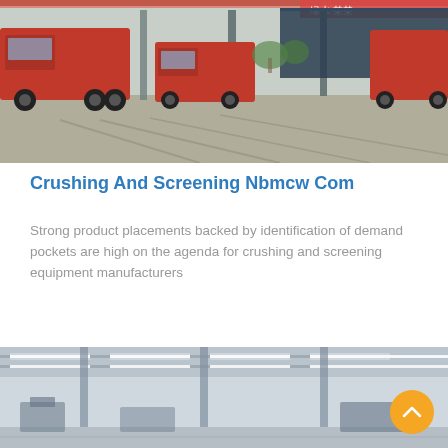[Figure (photo): Industrial scene with red dump trucks at a crushing and screening facility, viewed from ground level with overhead conveyor structure visible against a grey sky.]
Crushing And Screening Nbmcw Com
Strong product placements backed by identification of demand pockets are high on the agenda for crushing and screening equipment manufacturers
[Figure (photo): Interior of a large industrial warehouse or factory with steel-framed roof structure and fluorescent lighting strips, showing manufacturing equipment in the background.]